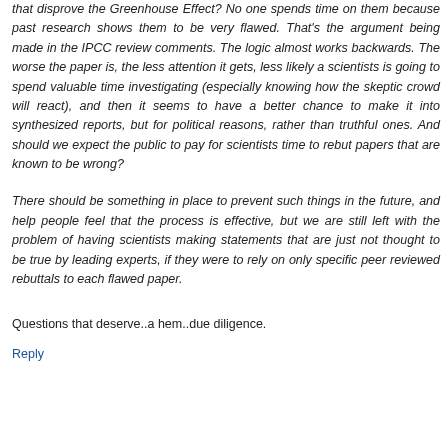that disprove the Greenhouse Effect? No one spends time on them because past research shows them to be very flawed. That's the argument being made in the IPCC review comments. The logic almost works backwards. The worse the paper is, the less attention it gets, less likely a scientists is going to spend valuable time investigating (especially knowing how the skeptic crowd will react), and then it seems to have a better chance to make it into synthesized reports, but for political reasons, rather than truthful ones. And should we expect the public to pay for scientists time to rebut papers that are known to be wrong?
There should be something in place to prevent such things in the future, and help people feel that the process is effective, but we are still left with the problem of having scientists making statements that are just not thought to be true by leading experts, if they were to rely on only specific peer reviewed rebuttals to each flawed paper.
Questions that deserve..a hem..due diligence.
Reply